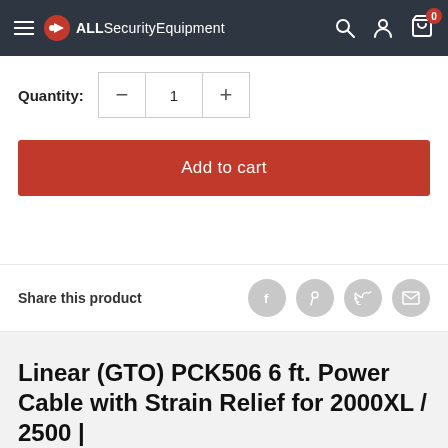ALLSecurityEquipment
Quantity: 1
Add to cart
Share this product
Linear (GTO) PCK506 6 ft. Power Cable with Strain Relief for 2000XL / 2500 |